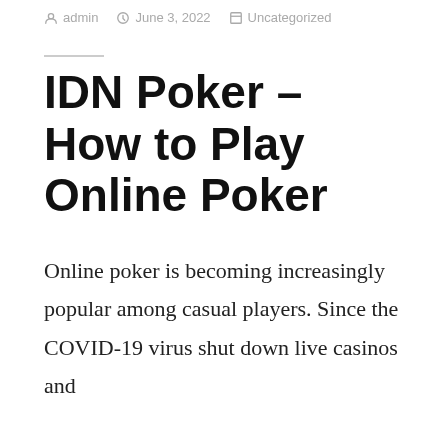admin  June 3, 2022  Uncategorized
IDN Poker – How to Play Online Poker
Online poker is becoming increasingly popular among casual players. Since the COVID-19 virus shut down live casinos and